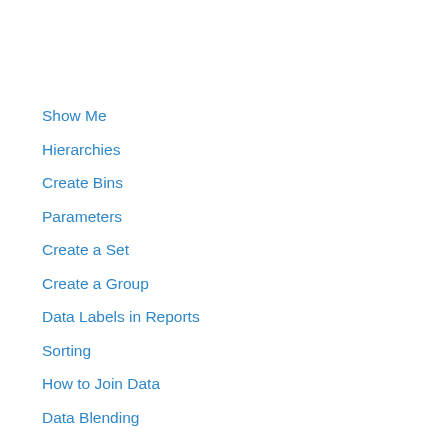Show Me
Hierarchies
Create Bins
Parameters
Create a Set
Create a Group
Data Labels in Reports
Sorting
How to Join Data
Data Blending